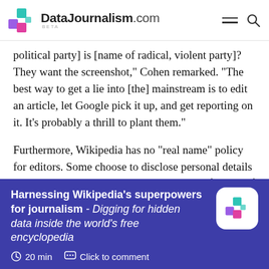DataJournalism.com BETA
political party] is [name of radical, violent party]? They want the screenshot," Cohen remarked. "The best way to get a lie into [the] mainstream is to edit an article, let Google pick it up, and get reporting on it. It's probably a thrill to plant them."
Furthermore, Wikipedia has no “real name” policy for editors. Some choose to disclose personal details on user pages, which can help gain the confidence of other editors, but this is not required. Thus, manipulators can mimic the behaviour patterns of a group to blend in.
Harnessing Wikipedia's superpowers for journalism - Digging for hidden data inside the world's free encyclopedia
20 min   Click to comment